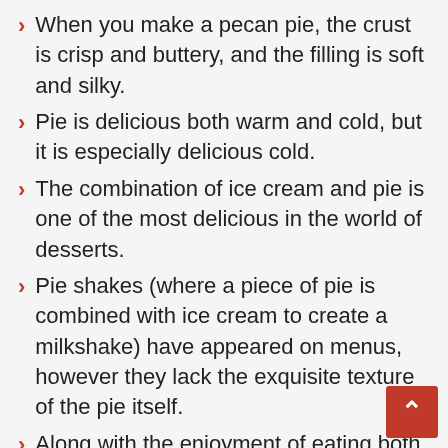When you make a pecan pie, the crust is crisp and buttery, and the filling is soft and silky.
Pie is delicious both warm and cold, but it is especially delicious cold.
The combination of ice cream and pie is one of the most delicious in the world of desserts.
Pie shakes (where a piece of pie is combined with ice cream to create a milkshake) have appeared on menus, however they lack the exquisite texture of the pie itself.
Along with the enjoyment of eating both simultaneously, you also save time